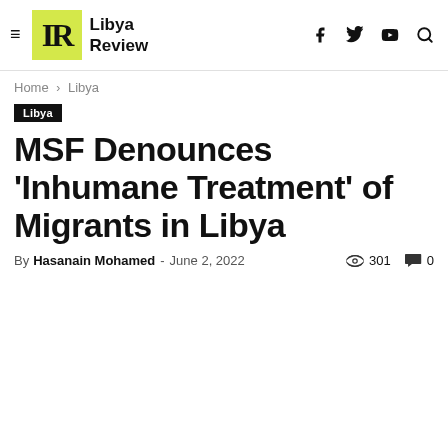Libya Review
Home › Libya
Libya
MSF Denounces 'Inhumane Treatment' of Migrants in Libya
By Hasanain Mohamed - June 2, 2022  301  0